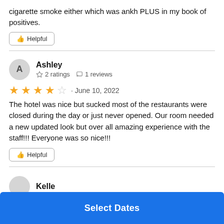cigarette smoke either which was ankh PLUS in my book of positives.
Helpful
Ashley · 2 ratings · 1 reviews
★★★☆ · June 10, 2022
The hotel was nice but sucked most of the restaurants were closed during the day or just never opened. Our room needed a new updated look but over all amazing experience with the staff!!! Everyone was so nice!!!
Helpful
Kelle
Select Dates